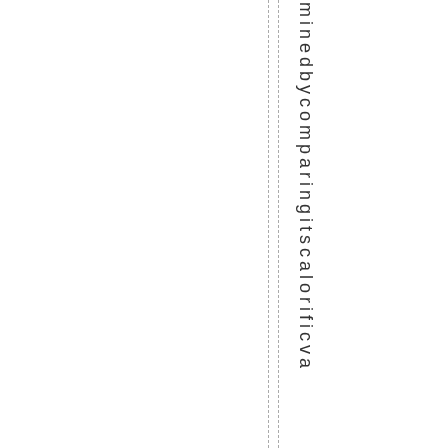minedbycomparingitscalorificva